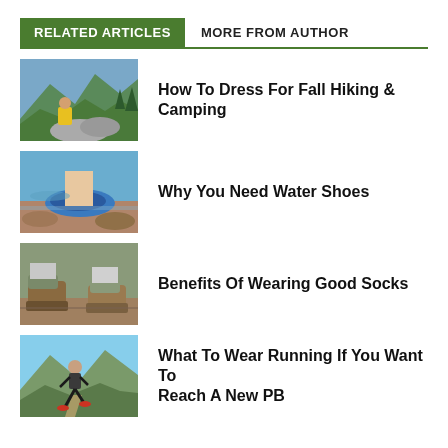RELATED ARTICLES   MORE FROM AUTHOR
[Figure (photo): Person in yellow jacket sitting on rocks in mountain landscape]
How To Dress For Fall Hiking & Camping
[Figure (photo): Close-up of feet wearing blue water shoes near water and rocks]
Why You Need Water Shoes
[Figure (photo): Close-up of hiking boots and socks on a trail]
Benefits Of Wearing Good Socks
[Figure (photo): Person running outdoors in athletic gear with mountains in background]
What To Wear Running If You Want To Reach A New PB